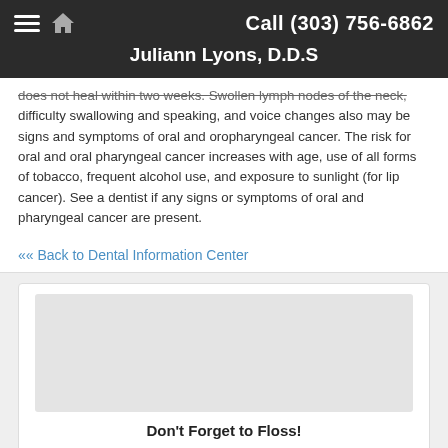Call (303) 756-6862 | Juliann Lyons, D.D.S
does not heal within two weeks. Swollen lymph nodes of the neck, difficulty swallowing and speaking, and voice changes also may be signs and symptoms of oral and oropharyngeal cancer. The risk for oral and oral pharyngeal cancer increases with age, use of all forms of tobacco, frequent alcohol use, and exposure to sunlight (for lip cancer). See a dentist if any signs or symptoms of oral and pharyngeal cancer are present.
«« Back to Dental Information Center
[Figure (illustration): Placeholder image area within a card]
Don't Forget to Floss!
Clean between teeth daily with floss or an interdental